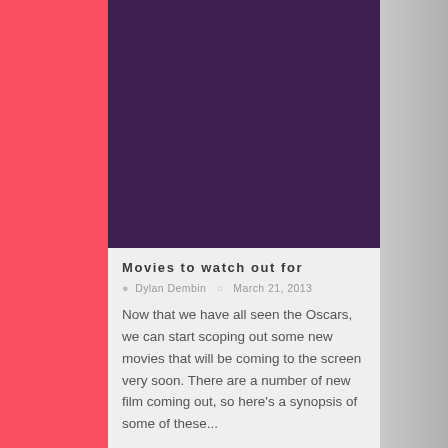[Figure (photo): Dark purple/violet solid color rectangle, appears to be a placeholder image for the article.]
Movies to watch out for
Dylan Dembin   March 21, 2013
Now that we have all seen the Oscars, we can start scoping out some new movies that will be coming to the screen very soon. There are a number of new film coming out, so here's a synopsis of some of these...